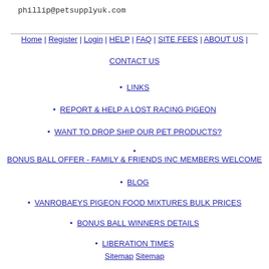phillip@petsupplyuk.com
Home | Register | Login | HELP | FAQ | SITE FEES | ABOUT US | CONTACT US
LINKS
REPORT & HELP A LOST RACING PIGEON
WANT TO DROP SHIP OUR PET PRODUCTS?
BONUS BALL OFFER - FAMILY & FRIENDS INC MEMBERS WELCOME
BLOG
VANROBAEYS PIGEON FOOD MIXTURES BULK PRICES
BONUS BALL WINNERS DETAILS
LIBERATION TIMES
Sitemap Sitemap